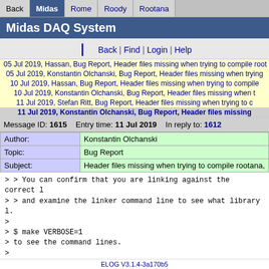Back | Midas | Rome | Roody | Rootana
Midas DAQ System
Back | Find | Login | Help
05 Jul 2019, Hassan, Bug Report, Header files missing when trying to compile root
05 Jul 2019, Konstantin Olchanski, Bug Report, Header files missing when trying
10 Jul 2019, Hassan, Bug Report, Header files missing when trying to compile
10 Jul 2019, Konstantin Olchanski, Bug Report, Header files missing when t
11 Jul 2019, Stefan Ritt, Bug Report, Header files missing when trying to c
11 Jul 2019, Konstantin Olchanski, Bug Report, Header files missing
Message ID: 1615   Entry time: 11 Jul 2019   In reply to: 1612
| Field | Value |
| --- | --- |
| Author: | Konstantin Olchanski |
| Topic: | Bug Report |
| Subject: | Header files missing when trying to compile rootana, |
> > You can confirm that you are linking against the correct l
> > and examine the linker command line to see what library l.
>
> $ make VERBOSE=1
> to see the command lines.
>

Most likely, they forgot to rerun "cmake" after installing a n

K.O.
ELOG V3.1.4-3a170b5